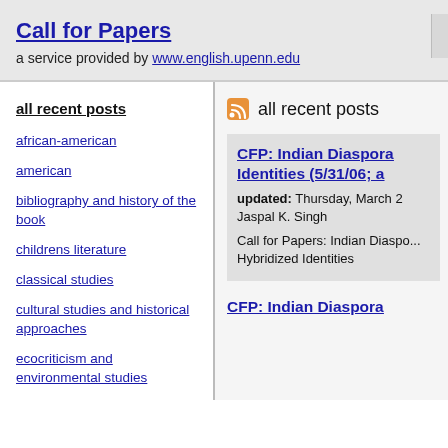Call for Papers
a service provided by www.english.upenn.edu
all recent posts
african-american
american
bibliography and history of the book
childrens literature
classical studies
cultural studies and historical approaches
ecocriticism and environmental studies
eighteenth century
all recent posts
CFP: Indian Diaspora Identities (5/31/06; a
updated: Thursday, March 2
Jaspal K. Singh
Call for Papers: Indian Diaspo... Hybridized Identities
CFP: Indian Diaspora